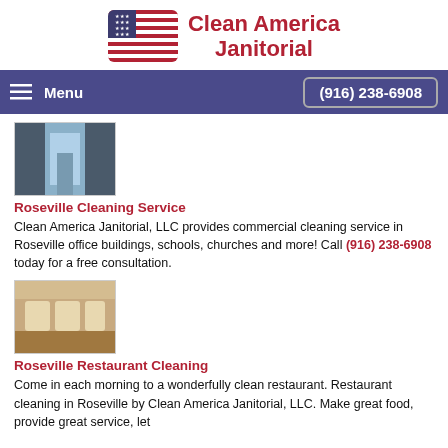[Figure (logo): Clean America Janitorial logo with US flag icon on the left and bold red text 'Clean America Janitorial' on the right]
Menu   (916) 238-6908
[Figure (photo): Interior hallway of a clean commercial building with blue lighting]
Roseville Cleaning Service
Clean America Janitorial, LLC provides commercial cleaning service in Roseville office buildings, schools, churches and more! Call (916) 238-6908 today for a free consultation.
[Figure (photo): Clean restaurant interior with chairs and wooden floor]
Roseville Restaurant Cleaning
Come in each morning to a wonderfully clean restaurant. Restaurant cleaning in Roseville by Clean America Janitorial, LLC. Make great food, provide great service, let